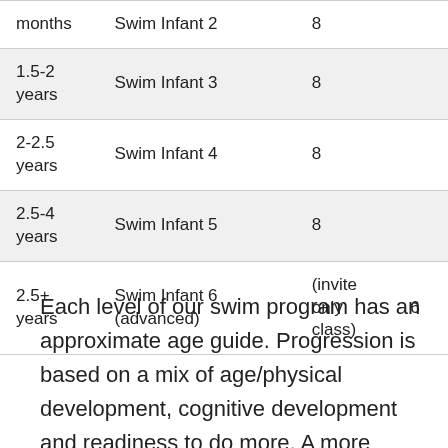| Age | Level | Class size |  |
| --- | --- | --- | --- |
| months | Swim Infant 2 | 8 |  |
| 1.5-2 years | Swim Infant 3 | 8 |  |
| 2-2.5 years | Swim Infant 4 | 8 |  |
| 2.5-4 years | Swim Infant 5 | 8 |  |
| 2.5+ years | Swim Infant 6 (advanced) | (invite only class) | 6 |
Each level of our swim program has an approximate age guide. Progression is based on a mix of age/physical development, cognitive development and readiness to do more. A more individualised approach helps classes flow as